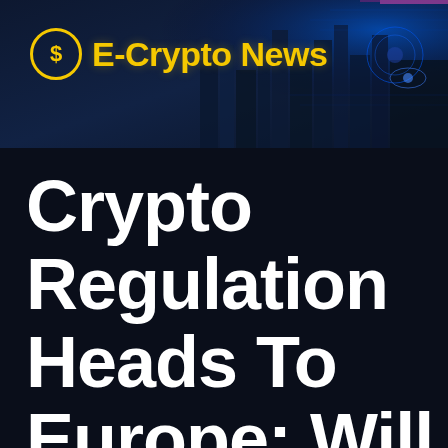[Figure (screenshot): E-Crypto News website header banner with futuristic cyber city background, blue digital interface elements on the right, and the E-Crypto News logo (yellow circle with S and yellow bold text) on the left.]
Crypto Regulation Heads To Europe: Will Exchanges